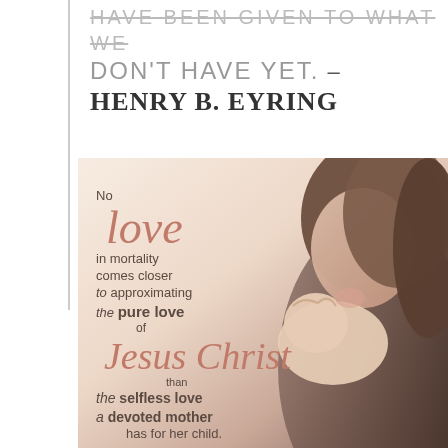HAVE BEEN GIVEN TO WHAT WE DON'T HAVE YET. – henry b. eyring
[Figure (photo): A mother holding and kissing a sleeping newborn baby, with overlaid quote text: 'No love in mortality comes closer to approximating the pure love of Jesus Christ than the selfless love a devoted mother has for her child.' — Jeffrey R. Holland. Warm peach and cream toned photo.]